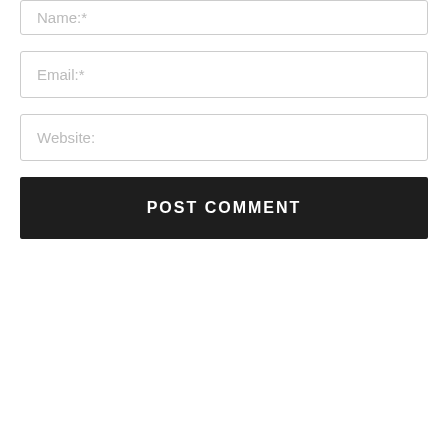Name:*
Email:*
Website:
POST COMMENT